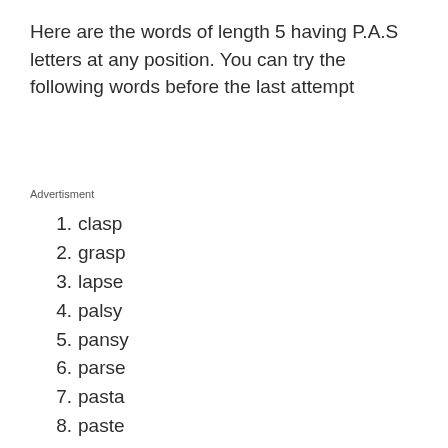Here are the words of length 5 having P.A.S letters at any position. You can try the following words before the last attempt
Advertisment
1. clasp
2. grasp
3. lapse
4. palsy
5. pansy
6. parse
7. pasta
8. paste
9. pasty
10. patsy
11. pause
12. phase